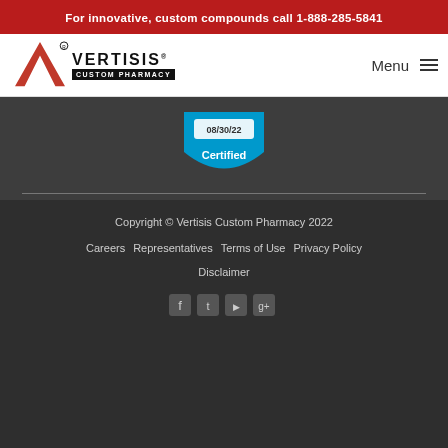For innovative, custom compounds call 1-888-285-5841
[Figure (logo): Vertisis Custom Pharmacy logo with red chevron/V mark and black text]
[Figure (illustration): Blue certification badge showing date 08/30/22 and text Certified]
Copyright © Vertisis Custom Pharmacy 2022
Careers  Representatives  Terms of Use  Privacy Policy
Disclaimer
[Figure (infographic): Social media icons: Facebook, Twitter, YouTube, Google+]